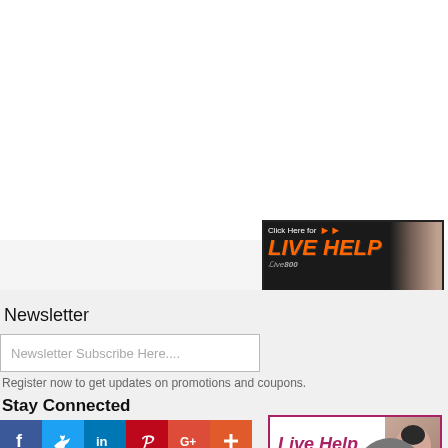[Figure (screenshot): Live Help banner ad with orange text 'Click Here for LIVE HELP' and a woman's face, black background, Live800 logo]
Newsletter
Newsletter Subscribe Here....
Register now to get updates on promotions and coupons.
Stay Connected
[Figure (screenshot): Social media icons row: Facebook (blue), Twitter (light blue), LinkedIn (blue), Pinterest (red), Google+ (red-orange), Add/more (orange)]
[Figure (screenshot): Live Help bottom banner with purple/pink text 'Live Help - Click here to talk!' and a woman's face]
[Figure (screenshot): Grey circular scroll-to-top button with upward arrow and text TOP]